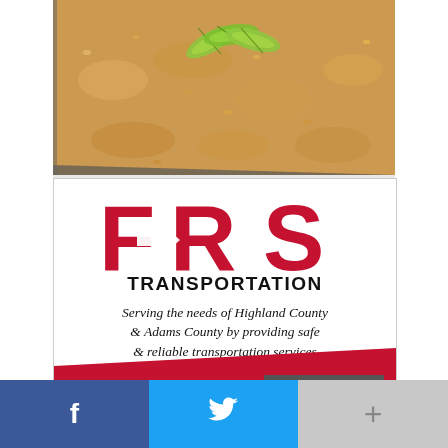[Figure (photo): Close-up photo of a baked apple sheet cake with crumble topping and glaze, garnished with thin green apple slices on top, in a dark baking pan]
[Figure (infographic): FRS Transportation advertisement. Large red FRS logo with arrow, subtitle TRANSPORTATION in bold black. Text: Serving the needs of Highland County & Adams County by providing safe & reliable transportation services. Bottom red bar with 509 E. MAIN ST. address and LEARN MORE button.]
[Figure (infographic): Social sharing bar with Facebook (blue, f icon), Twitter (blue, bird icon), and a gray plus button]